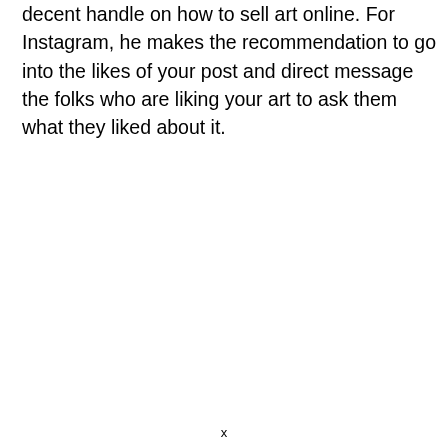decent handle on how to sell art online. For Instagram, he makes the recommendation to go into the likes of your post and direct message the folks who are liking your art to ask them what they liked about it.
x